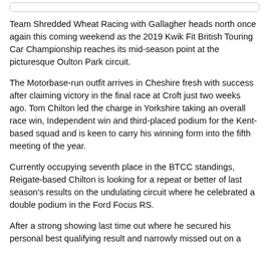Team Shredded Wheat Racing with Gallagher heads north once again this coming weekend as the 2019 Kwik Fit British Touring Car Championship reaches its mid-season point at the picturesque Oulton Park circuit.
The Motorbase-run outfit arrives in Cheshire fresh with success after claiming victory in the final race at Croft just two weeks ago. Tom Chilton led the charge in Yorkshire taking an overall race win, Independent win and third-placed podium for the Kent-based squad and is keen to carry his winning form into the fifth meeting of the year.
Currently occupying seventh place in the BTCC standings, Reigate-based Chilton is looking for a repeat or better of last season's results on the undulating circuit where he celebrated a double podium in the Ford Focus RS.
After a strong showing last time out where he secured his personal best qualifying result and narrowly missed out on a